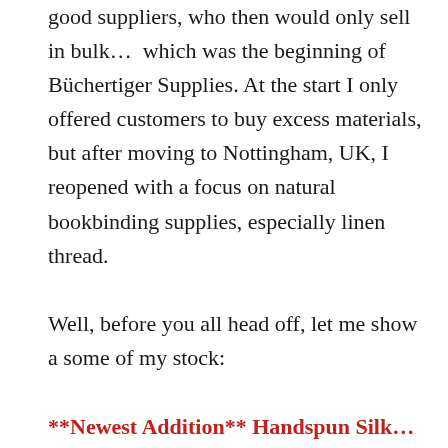good suppliers, who then would only sell in bulk…  which was the beginning of Büchertiger Supplies. At the start I only offered customers to buy excess materials, but after moving to Nottingham, UK, I reopened with a focus on natural bookbinding supplies, especially linen thread.

Well, before you all head off, let me show a some of my stock:
**Newest Addition** Handspun Silk…